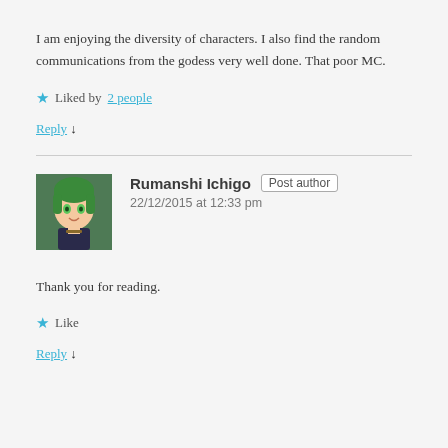I am enjoying the diversity of characters. I also find the random communications from the godess very well done. That poor MC.
★ Liked by 2 people
Reply ↓
Rumanshi Ichigo  Post author  22/12/2015 at 12:33 pm
Thank you for reading.
★ Like
Reply ↓